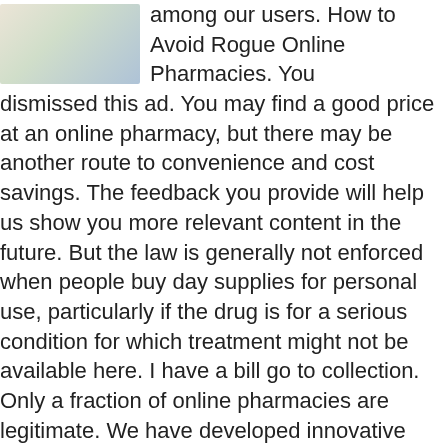[Figure (photo): Blurred/pixelated image of what appears to be medication or pharmacy-related items, partially visible in the top-left corner]
among our users. How to Avoid Rogue Online Pharmacies. You dismissed this ad. You may find a good price at an online pharmacy, but there may be another route to convenience and cost savings. The feedback you provide will help us show you more relevant content in the future. But the law is generally not enforced when people buy day supplies for personal use, particularly if the drug is for a serious condition for which treatment might not be available here. I have a bill go to collection. Only a fraction of online pharmacies are legitimate. We have developed innovative pharma app in 18 countries to expand medicines business in your country. The most prevalent financial problem Americans face month in month out is the inability to afford their medicines. Stick with online pharmacies associated with legitimate walk-in stores in the U. Welcome to